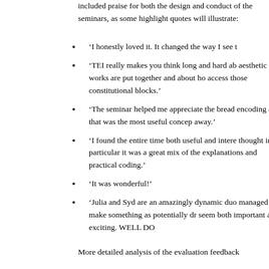included praise for both the design and conduct of the seminars, as some highlight quotes will illustrate:
‘I honestly loved it. It changed the way I see t…
‘TEI really makes you think long and hard ab… aesthetic works are put together and about ho… access those constitutional blocks.’
‘The seminar helped me appreciate the bread… encoding and that was the most useful concep… away.’
‘I found the entire time both useful and intere… thought in particular it was a great mix of the… explanations and practical coding.’
‘It was wonderful!’
‘Julia and Syd are an amazingly dynamic duo… managed to make something as potentially dr… seem both important and exciting. WELL DO…
More detailed analysis of the evaluation feedback…